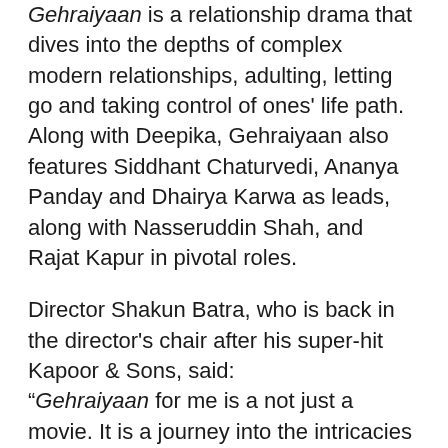Gehraiyaan is a relationship drama that dives into the depths of complex modern relationships, adulting, letting go and taking control of ones' life path. Along with Deepika, Gehraiyaan also features Siddhant Chaturvedi, Ananya Panday and Dhairya Karwa as leads, along with Nasseruddin Shah, and Rajat Kapur in pivotal roles.
Director Shakun Batra, who is back in the director's chair after his super-hit Kapoor & Sons, said: “Gehraiyaan for me is a not just a movie. It is a journey into the intricacies of human relationships, it is a mirror into modern adult relationships, how we traverse through the maze of feelings and emotions and how each step, each decision we make affects our lives and the lives of those around. I am immensely glad to have taken this journey with the incredible team and Dharma Productions, the exceptionally talented cast and crew, and now Amazon Prime Video. I believe audiences will